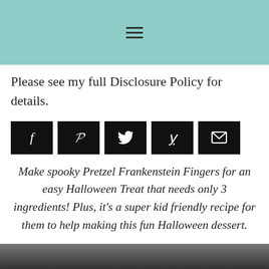≡
Please see my full Disclosure Policy for details.
[Figure (other): Row of 5 social sharing buttons (Facebook, Pinterest, Twitter, Yummly, Email) with dark/black backgrounds and white icons]
Make spooky Pretzel Frankenstein Fingers for an easy Halloween Treat that needs only 3 ingredients! Plus, it's a super kid friendly recipe for them to help making this fun Halloween dessert.
[Figure (photo): Bottom strip of a photo showing food/dessert items, partially visible]